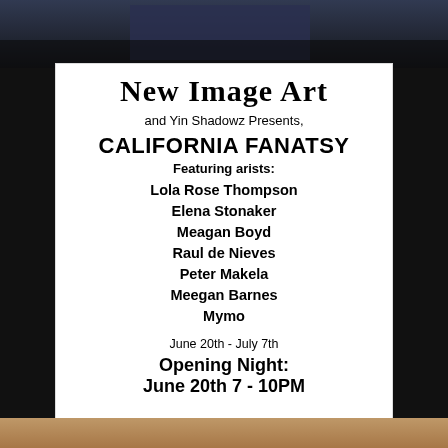[Figure (photo): Dark photo strip at top of page]
New Image Art
and Yin Shadowz Presents,
CALIFORNIA FANATSY
Featuring arists:
Lola Rose Thompson
Elena Stonaker
Meagan Boyd
Raul de Nieves
Peter Makela
Meegan Barnes
Mymo
June 20th - July 7th
Opening Night:
June 20th 7 - 10PM
[Figure (photo): Warm-toned photo strip at bottom of page]